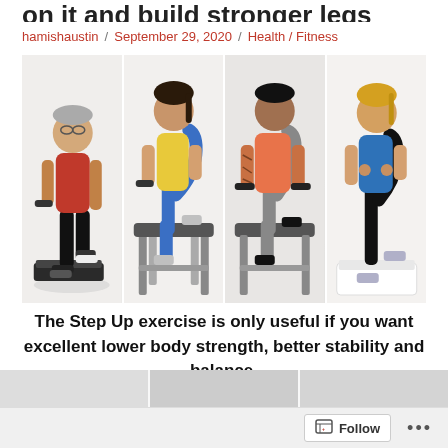on it and build stronger legs
hamishaustin / September 29, 2020 / Health / Fitness
[Figure (photo): Four people performing step-up exercises on various platforms: older man in red shirt on aerobic step, woman in yellow top on adjustable bench, tattooed man holding dumbbells on bench, woman in blue top on white step platform]
The Step Up exercise is only useful if you want excellent lower body strength, better stability and balance.
Follow ...